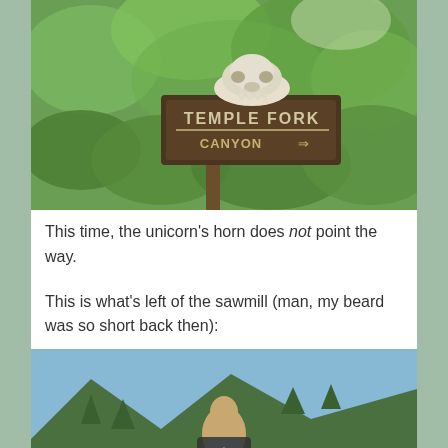[Figure (photo): Outdoor photo of a wooden sign reading 'TEMPLE FORK CANYON' with an animal skull placed on top, surrounded by green shrubs and trees on a hillside.]
This time, the unicorn’s horn does not point the way.
This is what’s left of the sawmill (man, my beard was so short back then):
[Figure (photo): Outdoor photo of a person standing in front of a mountain landscape with trees and blue sky. A scroll-to-top button overlay is visible in the center bottom of the image.]